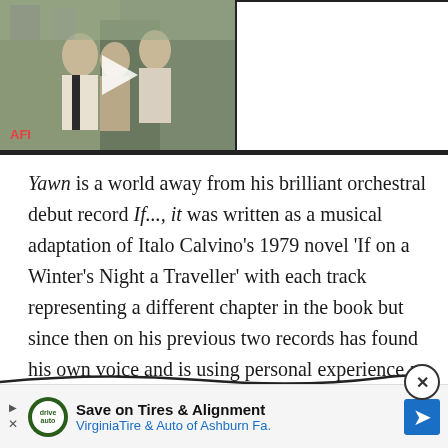[Figure (screenshot): Video thumbnail showing two people in a vintage scene with AFI logo in bottom-left corner and a play button overlay. Right side of the video player area is white/blank.]
Yawn is a world away from his brilliant orchestral debut record If..., it was written as a musical adaptation of Italo Calvino's 1979 novel 'If on a Winter's Night a Traveller' with each track representing a different chapter in the book but since then on his previous two records has found his own voice and is using personal experience as his inspiration.
Th... lf produced record flows seamlessl
[Figure (infographic): Advertisement banner: Save on Tires & Alignment — VirginiaTire & Auto of Ashburn Fa. with a green auto logo and blue navigation arrow icon.]